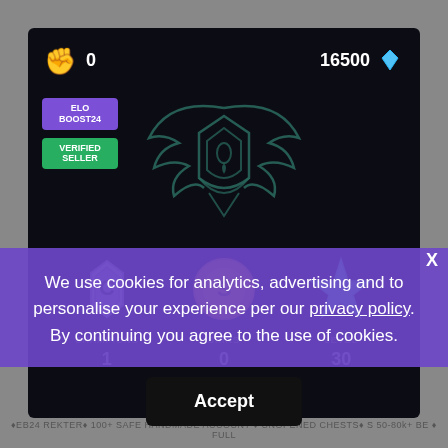[Figure (screenshot): Gaming account panel on dark background showing fist icon with score 0, diamond icon with 16500, ELO BOOST24 purple badge, VERIFIED SELLER green badge, a teal shield/wings emblem in center, and three bottom icons: Champions shield (1), Skins coin (0), Level star (30)]
We use cookies for analytics, advertising and to personalise your experience per our privacy policy. By continuing you agree to the use of cookies.
Accept
♦EB24 REKTER♦ 100+ SAFE HANDMADE ACCOUNT ♦ UNOPENED CHESTS♦ S 50-80k+ BE ♦ FULL